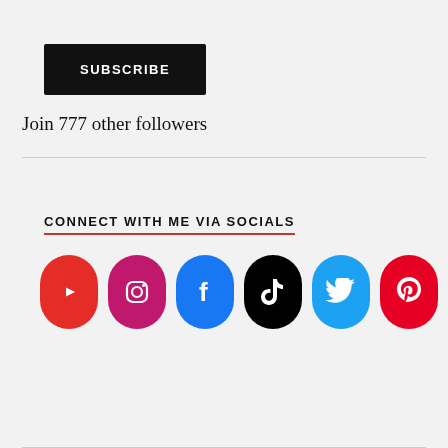[Figure (other): Black SUBSCRIBE button]
Join 777 other followers
CONNECT WITH ME VIA SOCIALS
[Figure (infographic): Row of 6 social media icon pills: YouTube (red), Instagram (pink/magenta), Facebook (blue), TikTok (black), Twitter (light blue), Pinterest (red)]